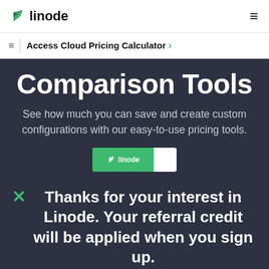linode  ☰
≡  |  Access Cloud Pricing Calculator >
Comparison Tools
See how much you can save and create custom configurations with our easy-to-use pricing tools.
[Figure (screenshot): Partial view of a Linode tool card with green header showing Linode logo and text]
Thanks for your interest in Linode. Your referral credit will be applied when you sign up.